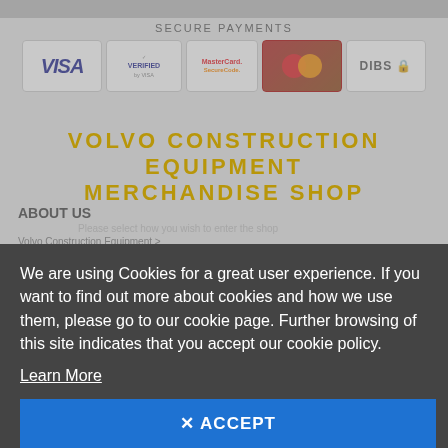SECURE PAYMENTS
[Figure (logo): Payment method logos: VISA, Verified by VISA, MasterCard SecureCode, MasterCard, DIBS]
VOLVO CONSTRUCTION EQUIPMENT MERCHANDISE SHOP
ABOUT US
Please select how you wish to enter the shop
Volvo Construction Equipment >
PRIVATE CUSTOMERS EU & NORWAY
CUSTOMER SUPPORT
How to buy >
Delivery & Shipping >
Returns & Claims >          Questions & Answers >
BUSINESS GROUP CUSTOMERS EU & NORWAY
We are using Cookies for a great user experience. If you want to find out more about cookies and how we use them, please go to our cookie page. Further browsing of this site indicates that you accept our cookie policy.
Learn More
✕ ACCEPT